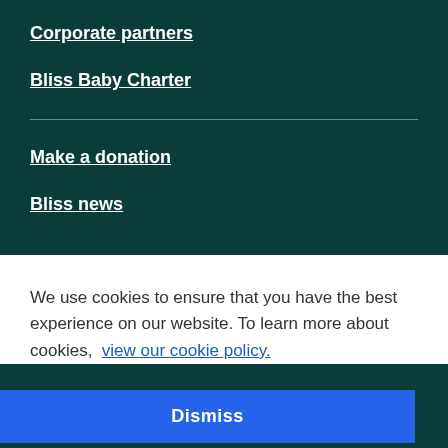Corporate partners
Bliss Baby Charter
Make a donation
Bliss news
We use cookies to ensure that you have the best experience on our website. To learn more about cookies, view our cookie policy.
Dismiss
Cookies